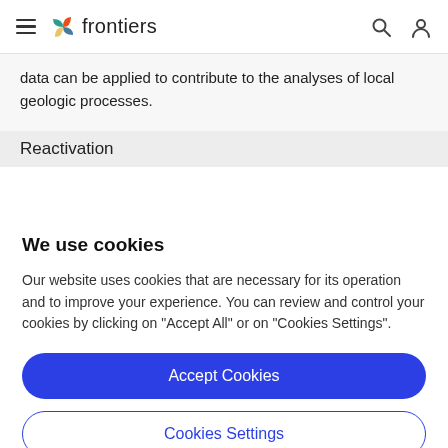frontiers
data can be applied to contribute to the analyses of local geologic processes.
Reactivation
We use cookies
Our website uses cookies that are necessary for its operation and to improve your experience. You can review and control your cookies by clicking on "Accept All" or on "Cookies Settings".
Accept Cookies
Cookies Settings